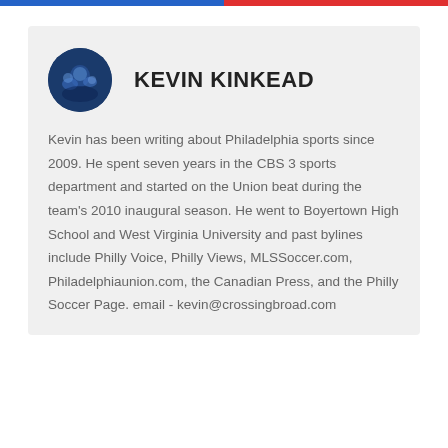[Figure (photo): Circular avatar photo of Kevin Kinkead with a dark blue background showing a crowd or event scene]
KEVIN KINKEAD
Kevin has been writing about Philadelphia sports since 2009. He spent seven years in the CBS 3 sports department and started on the Union beat during the team's 2010 inaugural season. He went to Boyertown High School and West Virginia University and past bylines include Philly Voice, Philly Views, MLSSoccer.com, Philadelphiaunion.com, the Canadian Press, and the Philly Soccer Page. email - kevin@crossingbroad.com